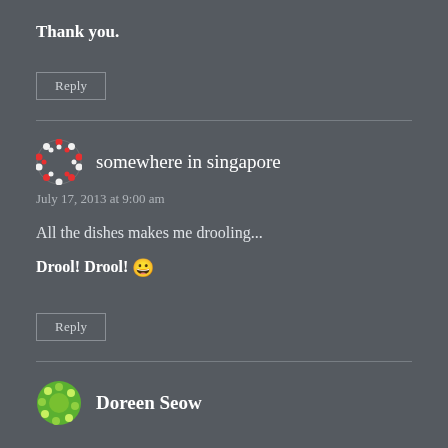Thank you.
Reply
somewhere in singapore
July 17, 2013 at 9:00 am
All the dishes makes me drooling...
Drool! Drool! 😀
Reply
Doreen Seow